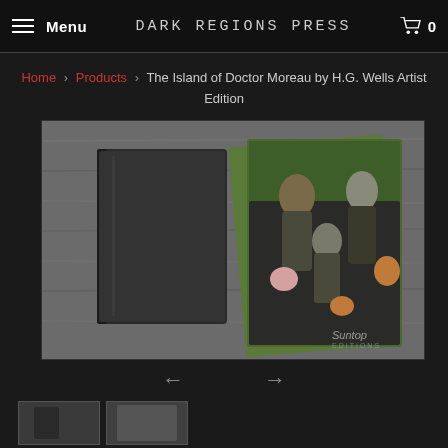Menu  Dark Regions Press  0
Home > Products > The Island of Doctor Moreau by H.G. Wells Artist Edition
[Figure (photo): Product photo showing a dark hardcover book on a wooden surface alongside illustrated art cards featuring anthropomorphic animal characters dressed in Victorian clothing, with 'Suntop' logo in lower right corner]
← →